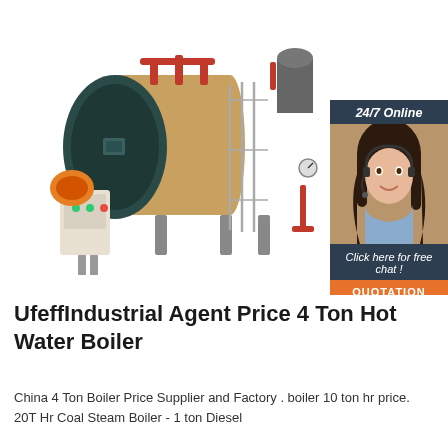[Figure (photo): Large industrial horizontal fire-tube steam boiler in gold/metallic finish with a dark teal front end cap, red pipes on top, an orange/red burner on the left, a white control panel box to the left, and a metal cage/guard. The boiler sits on metal legs. Background is white. In the lower-right corner there is an overlaid customer service chat widget showing a woman with a headset, text '24/7 Online', 'Click here for free chat!', and an orange 'QUOTATION' button.]
UfeffIndustrial Agent Price 4 Ton Hot Water Boiler
China 4 Ton Boiler Price Supplier and Factory . boiler 10 ton hr price. 20T Hr Coal Steam Boiler - 1 ton Diesel